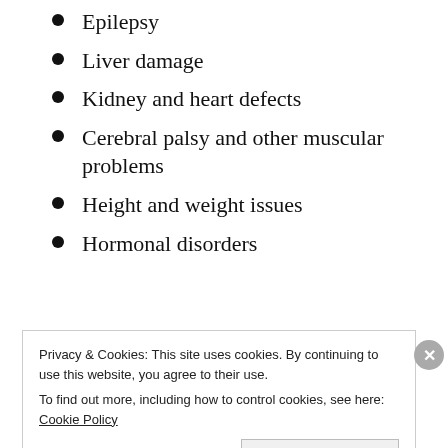Epilepsy
Liver damage
Kidney and heart defects
Cerebral palsy and other muscular problems
Height and weight issues
Hormonal disorders
Privacy & Cookies: This site uses cookies. By continuing to use this website, you agree to their use. To find out more, including how to control cookies, see here: Cookie Policy